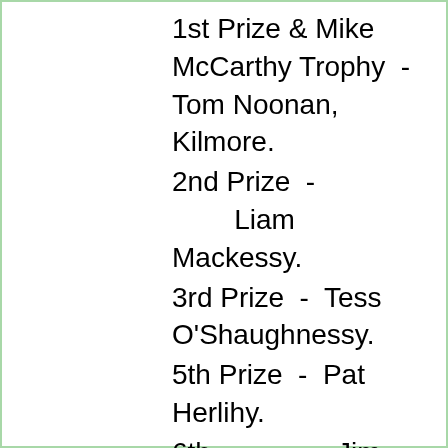1st Prize & Mike McCarthy Trophy  -  Tom Noonan, Kilmore.
2nd Prize  -        Liam Mackessy.
3rd Prize  -  Tess O'Shaughnessy.
5th Prize  -  Pat Herlihy.
6th             -  Jim Moore.
Category I  -  1st prize  -  Mossie O'Connor.
2nd pr   -  Stephen Stapleton.
Golfer of the Year Award  -  Eddie O'Brien.
Lady Golfer   "        "
- Marie Noonan